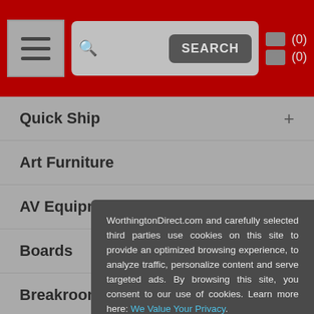[Figure (screenshot): Website header with hamburger menu, search bar, and cart/wishlist icons on red background]
Quick Ship
Art Furniture
AV Equipment
Boards
Breakroom Furniture
Cafeteria Tables
Chairs
Church
Classro
Collabo
Compu
Desks
Display
WorthingtonDirect.com and carefully selected third parties use cookies on this site to provide an optimized browsing experience, to analyze traffic, personalize content and serve targeted ads. By browsing this site, you consent to our use of cookies. Learn more here: We Value Your Privacy.
I Accept